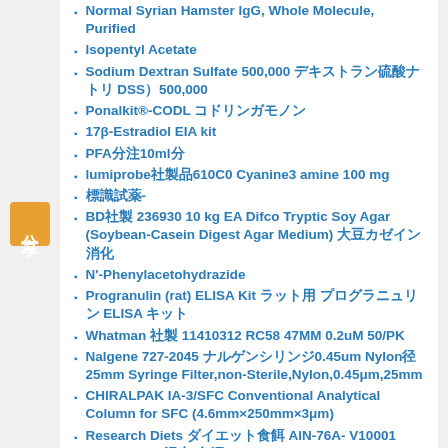Normal Syrian Hamster IgG, Whole Molecule, Purified
Isopentyl Acetate
Sodium Dextran Sulfate 500,000 デキストラン硫酸DSS）500,000
Ponalkit®-CODL コドリンガモノ
17β-Estradiol EIA kit
PFA分注10ml分
lumiprobe社製品610C0 Cyanine3 amine 100 mg
標識試薬-
BD社製 236930 10 kg EA Difco Tryptic Soy Agar (Soybean-Casein Digest Agar Medium) 大豆カゼイン消化
N'-Phenylacetohydrazide
Progranulin (rat) ELISA Kit ラット用 プログラニュリン ELISA キット
Whatman 社製 11410312 RC58 47MM 0.2uM 50/PK
Nalgene 727-2045 ナルゲンシリンジ0.45um Nylon径25mm Syringe Filter,non-Sterile,Nylon,0.45μm,25mm
CHIRALPAK IA-3/SFC Conventional Analytical Column for SFC (4.6mm×250mm×3μm)
Research Diets ダイエット食餌 AIN-76A- V10001 Vitamin Mix 混合 食餌 12.5kg
BD社製 231041 DISC BACITRACIN TAXO A 6 VIAL
BD社製 217720 100 g EA Difco Salicin 試薬
...